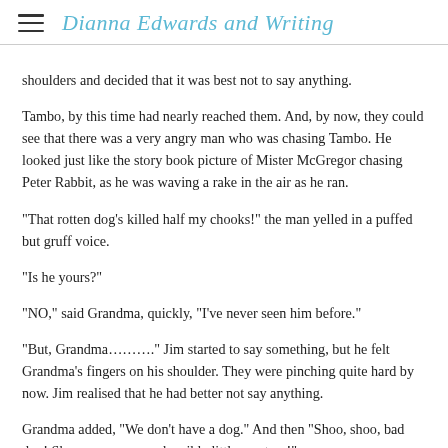Dianna Edwards and Writing
shoulders and decided that it was best not to say anything.
Tambo, by this time had nearly reached them.  And, by now, they could see that there was a very angry man who was chasing Tambo.  He looked just like the story book picture of Mister McGregor chasing Peter Rabbit, as he was waving a rake in the air as he ran.
"That rotten dog's killed half my chooks!" the man yelled in a puffed but gruff voice.
"Is he yours?"
"NO," said Grandma, quickly, "I've never seen him before."
"But, Grandma…………" Jim started to say something, but he felt Grandma's fingers on his shoulder. They were pinching quite hard by now.  Jim realised that he had better not say anything.
Grandma added, "We don't have a dog."  And then "Shoo, shoo, bad dog! Shoo……go away, horrible little creature!"